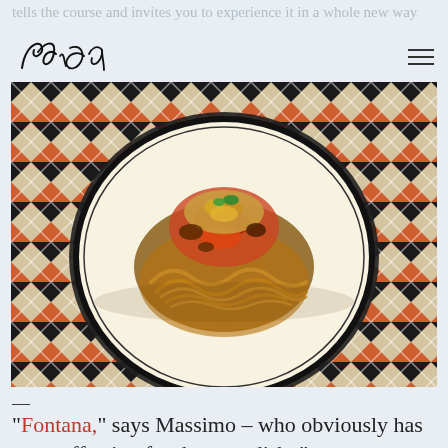Pul Ren / (logo/signature) with hamburger menu
tells the course and invites you to experience it in a whole new way
[Figure (photo): A pasta dish served on a decorative black and white patterned plate, topped with what appears to be tomato sauce, shrimp or seafood, breadcrumbs, and herbs. The plate has a bold geometric Art Deco pattern on the rim.]
—
“Fontana,” says Massimo – who obviously has great affection for the next dish, “was